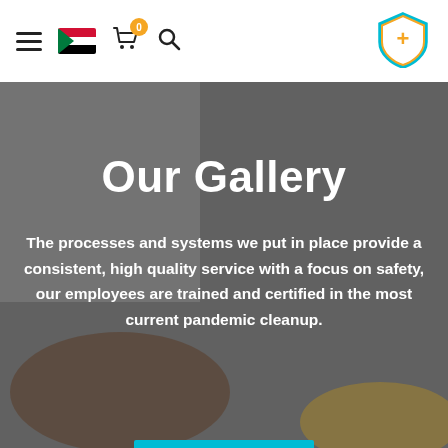Navigation bar with hamburger menu, Sudan flag, cart (0), search icon, and shield logo
Our Gallery
The processes and systems we put in place provide a consistent, high quality service with a focus on safety, our employees are trained and certified in the most current pandemic cleanup.